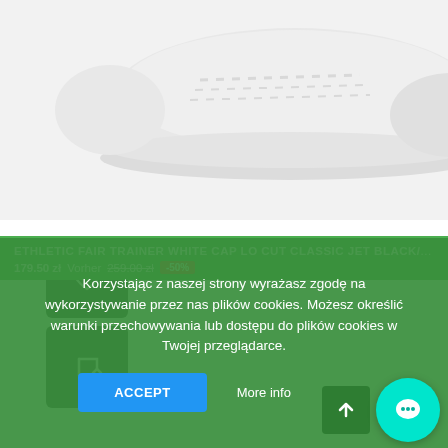[Figure (photo): White athletic shoe (sneaker) photographed from above/side on white/light grey background]
[Figure (other): Dark grey rounded square button with heart/wishlist icon]
[Figure (other): Dark grey rounded square button with compare/refresh icon]
ETHLETIC FAIR TRAINER WHITE CAP LO CUT CLASSIC JET BLACK/...
179.50 zł Vorher 259.00 zł -50%
Korzystając z naszej strony wyrażasz zgodę na wykorzystywanie przez nas plików cookies. Możesz określić warunki przechowywania lub dostępu do plików cookies w Twojej przeglądarce.
ACCEPT
More info
Reject